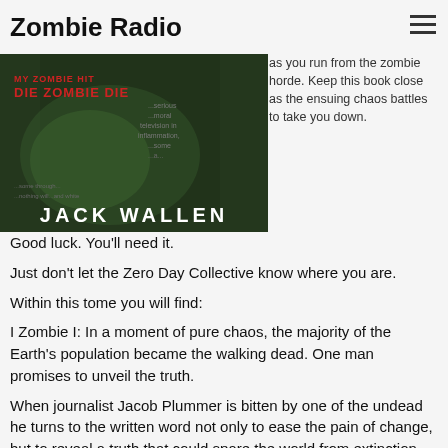Zombie Radio
[Figure (photo): Book cover for I Zombie series by Jack Wallen, dark green/black background with red text showing DIE ZOMBIE DIE and JACK WALLEN at bottom]
entire I Zombie trilogy is now entombed in one volume, easy enough to carry with you as you run from the zombie horde. Keep this book close as the ensuing chaos battles to take you down.
Good luck. You'll need it.
Just don't let the Zero Day Collective know where you are.
Within this tome you will find:
I Zombie I: In a moment of pure chaos, the majority of the Earth's population became the walking dead. One man promises to unveil the truth.
When journalist Jacob Plummer is bitten by one of the undead he turns to the written word not only to ease the pain of change, but to reveal a truth that could spare the world from extinction.
As Jacob attempts to reveal the conspiracy behind the virus he